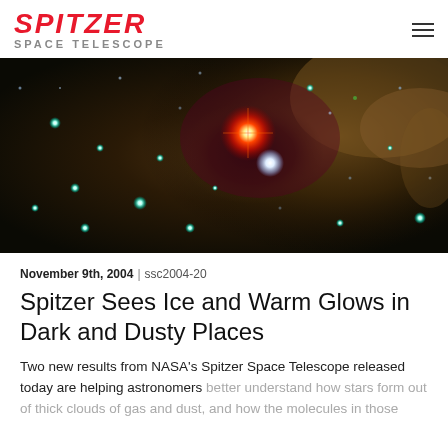SPITZER SPACE TELESCOPE
[Figure (photo): Infrared space telescope image showing a dark dusty nebula region with colorful stars — bright red and white glowing objects in the center, cyan/blue stars scattered throughout, and a warm orange-brown dust cloud background.]
November 9th, 2004 | ssc2004-20
Spitzer Sees Ice and Warm Glows in Dark and Dusty Places
Two new results from NASA's Spitzer Space Telescope released today are helping astronomers better understand how stars form out of thick clouds of gas and dust, and how the molecules in those